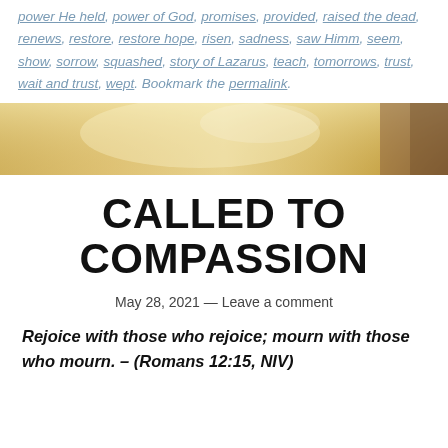power He held, power of God, promises, provided, raised the dead, renews, restore, restore hope, risen, sadness, saw Himm, seem, show, sorrow, squashed, story of Lazarus, teach, tomorrows, trust, wait and trust, wept. Bookmark the permalink.
[Figure (photo): Warm golden blurred background image, likely outdoor light, used as hero/banner image for blog post]
CALLED TO COMPASSION
May 28, 2021 — Leave a comment
Rejoice with those who rejoice; mourn with those who mourn. – (Romans 12:15, NIV)